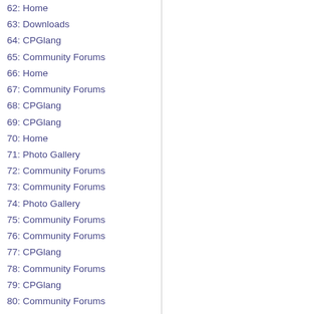62: Home
63: Downloads
64: CPGlang
65: Community Forums
66: Home
67: Community Forums
68: CPGlang
69: CPGlang
70: Home
71: Photo Gallery
72: Community Forums
73: Community Forums
74: Photo Gallery
75: Community Forums
76: Community Forums
77: CPGlang
78: Community Forums
79: CPGlang
80: Community Forums
81: Community Forums
82: CPGlang
83: Statistics
84: Photo Gallery
85: Photo Gallery